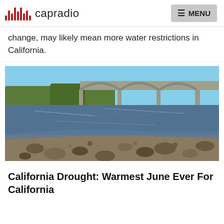capradio  MENU
change, may likely mean more water restrictions in California.
[Figure (photo): Low river with exposed rocky riverbed in the foreground, calm water in the middle, and an arched bridge with trees in the background under a clear blue sky. Depicts drought conditions in California.]
California Drought: Warmest June Ever For California